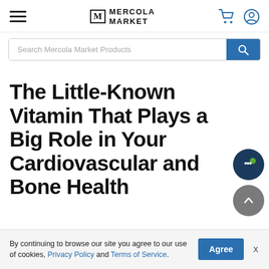Mercola Market — navigation bar with hamburger menu, logo, cart and user icons
Search Mercola Market Products
The Little-Known Vitamin That Plays a Big Role in Your Cardiovascular and Bone Health
By continuing to browse our site you agree to our use of cookies, Privacy Policy and Terms of Service.